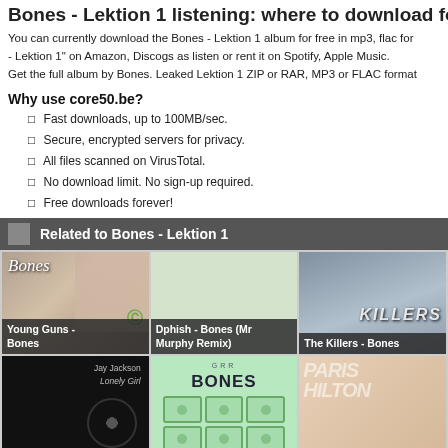Bones - Lektion 1 listening: where to download for
You can currently download the Bones - Lektion 1 album for free in mp3, flac for - Lektion 1" on Amazon, Discogs as listen or rent it on Spotify, Apple Music. Get the full album by Bones. Leaked Lektion 1 ZIP or RAR, MP3 or FLAC format
Why use core50.be?
Fast downloads, up to 100MB/sec.
Secure, encrypted servers for privacy.
All files scanned on VirusTotal.
No download limit. No sign-up required.
Free downloads forever!
Related to Bones - Lektion 1
[Figure (photo): Young Guns - Bones album cover]
Young Guns - Bones
[Figure (photo): Dphish - Bones (Mr Murphy Remix) album cover]
Dphish - Bones (Mr Murphy Remix)
[Figure (photo): The Killers - Bones album cover]
The Killers - Bones
[Figure (photo): Jay Jackson - Lonely Girl album cover]
[Figure (photo): Bones green album cover with geometric pattern]
[Figure (photo): Paris Hilton style blonde album cover]